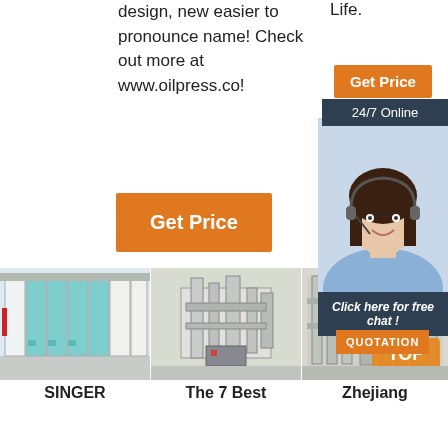design, new easier to pronounce name! Check out more at www.oilpress.co!
Life.
Get Price
24/7 Online
[Figure (photo): Customer service agent wearing headset, smiling]
Click here for free chat !
QUOTATION
Get Price
[Figure (photo): Industrial grain milling machine in factory - left panel]
[Figure (photo): Industrial grain milling machine in factory - center panel]
[Figure (photo): Industrial grain milling machine with TOP logo overlay - right panel]
SINGER
The 7 Best
Zhejiang